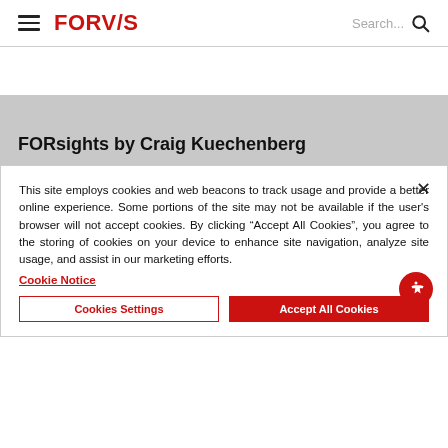FORVIS
FORsights by Craig Kuechenberg
This site employs cookies and web beacons to track usage and provide a better online experience. Some portions of the site may not be available if the user's browser will not accept cookies. By clicking “Accept All Cookies”, you agree to the storing of cookies on your device to enhance site navigation, analyze site usage, and assist in our marketing efforts.
Cookie Notice